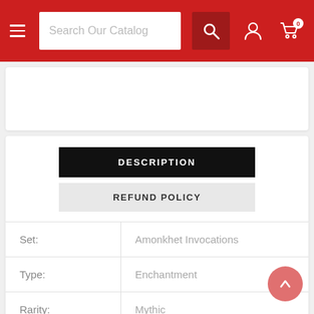[Figure (screenshot): E-commerce website navigation bar with hamburger menu, search box reading 'Search Our Catalog', search button, user account icon, and shopping cart icon with badge showing 0]
DESCRIPTION
REFUND POLICY
| Set: | Amonkhet Invocations |
| Type: | Enchantment |
| Rarity: | Mythic |